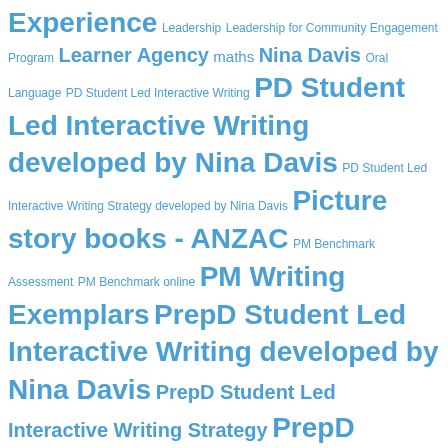[Figure (other): Tag cloud of education-related terms in varying font sizes and weights, all in blue color. Terms include: Experience, Leadership, Leadership for Community Engagement Program, Learner Agency, maths, Nina Davis, Oral Language, PD Student Led Interactive Writing, PD Student Led Interactive Writing developed by Nina Davis, PD Student Led Interactive Writing Strategy developed by Nina Davis, Picture story books - ANZAC, PM Benchmark Assessment, PM Benchmark online, PM Writing Exemplars, PrepD Student Led Interactive Writing developed by Nina Davis, PrepD Student Led Interactive Writing Strategy, PrepD Student Led Interactive Writing Strategy developed by Nina Davis, Read Aloud, Reading, Reading Success Network, recount, relationships, Rowena Wiseman, skiing, Steve Peha, Student Agency, The Reading Wall, the teacher who loves to ski, Thredbo, ultranet, VELS, Victorian Early Years, Visible, Writing]